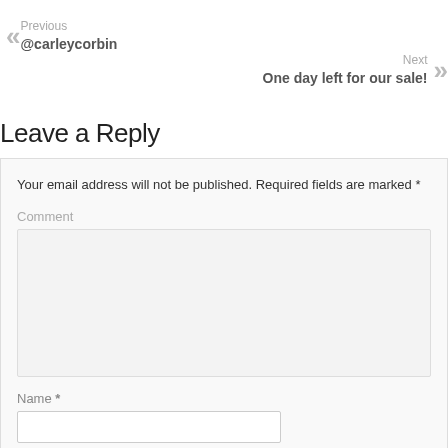Previous @carleycorbin
Next One day left for our sale!
Leave a Reply
Your email address will not be published. Required fields are marked *
Comment
Name *
Email *